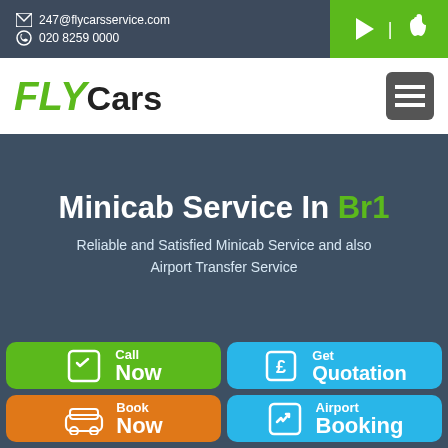247@flycarsservice.com | 020 8259 0000
[Figure (logo): FLY Cars logo with green italic FLY text and black Cars text]
Minicab Service In Br1
Reliable and Satisfied Minicab Service and also Airport Transfer Service
Call Now
Get Quotation
Book Now
Airport Booking